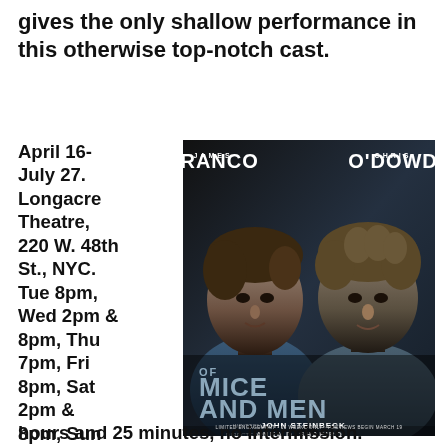gives the only shallow performance in this otherwise top-notch cast.
April 16- July 27. Longacre Theatre, 220 W. 48th St., NYC. Tue 8pm, Wed 2pm & 8pm, Thu 7pm, Fri 8pm, Sat 2pm & 8pm, Sun 3pm. Running time 2
[Figure (photo): Promotional poster for 'Of Mice and Men' Broadway production featuring James Franco and Chris O'Dowd. Dark background with two men's faces visible. Text reads: JAMES FRANCO, CHRIS O'DOWD, OF MICE AND MEN, written by JOHN STEINBECK, directed by ANNA D. SHAPIRO. LIMITED ENGAGEMENT - 16 WEEKS ONLY - PREVIEWS BEGIN MARCH 19.]